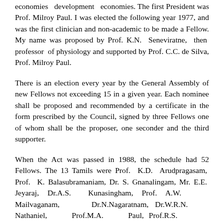economies development economies. The first President was Prof. Milroy Paul. I was elected the following year 1977, and was the first clinician and non-academic to be made a Fellow. My name was proposed by Prof. K.N. Seneviratne, then professor of physiology and supported by Prof. C.C. de Silva, Prof. Milroy Paul.
There is an election every year by the General Assembly of new Fellows not exceeding 15 in a given year. Each nominee shall be proposed and recommended by a certificate in the form prescribed by the Council, signed by three Fellows one of whom shall be the proposer, one seconder and the third supporter.
When the Act was passed in 1988, the schedule had 52 Fellows. The 13 Tamils were Prof. K.D. Arudpragasam, Prof. K. Balasubramaniam, Dr. S. Gnanalingam, Mr. E.E. Jeyaraj, Dr.A.S. Kunasingham, Prof. A.W. Mailvaganam, Dr.N.Nagaratnam, Dr.W.R.N. Nathaniel, Prof.M.A. Paul, Prof.R.S. Ramakrishna, Dr.S.